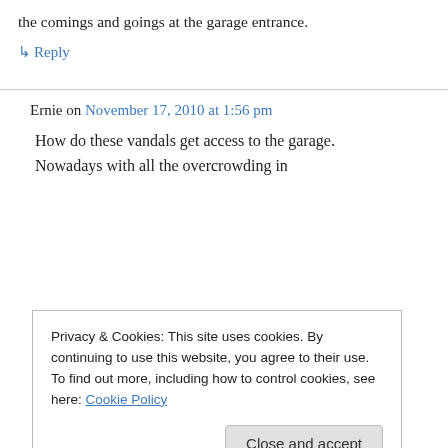the comings and goings at the garage entrance.
↳ Reply
Ernie on November 17, 2010 at 1:56 pm
How do these vandals get access to the garage. Nowadays with all the overcrowding in
Privacy & Cookies: This site uses cookies. By continuing to use this website, you agree to their use.
To find out more, including how to control cookies, see here: Cookie Policy
Close and accept